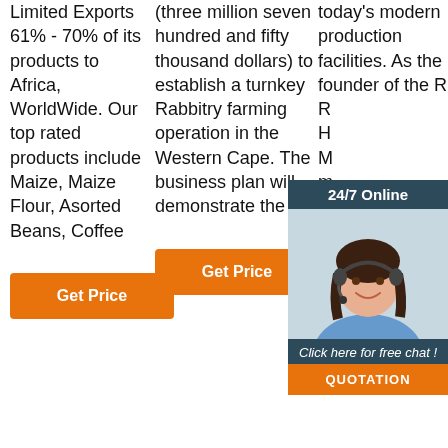Limited Exports 61% - 70% of its products to Africa, WorldWide. Our top rated products include Maize, Maize Flour, Asorted Beans, Coffee
Get Price
(three million seven hundred and fifty thousand dollars) to establish a turnkey Rabbitry farming operation in the Western Cape. The business plan will demonstrate the ...
Get Price
today's modern production facilities. As the founder of the Ro Re Ho M m in G later the whole world. Since 1878, we provide technological
[Figure (photo): Chat widget with woman wearing headset, 24/7 Online header, Click here for free chat subtext, QUOTATION button]
[Figure (logo): TOP circular dotted watermark logo]